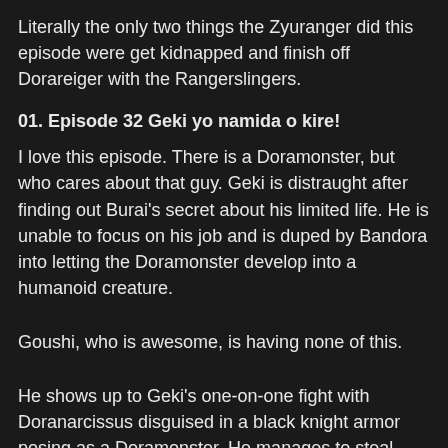Literally the only two things the Zyuranger did this episode were get kidnapped and finish off Dorareiger with the Rangerslingers.
01. Episode 32 Geki yo namida o kire!
I love this episode. There is a Doramonster, but who cares about that guy. Geki is distraught after finding out Burai's secret about his limited life. He is unable to focus on his job and is duped by Bandora into letting the Doramonster develop into a humanoid creature.
Goushi, who is awesome, is having none of this.
He shows up to Geki's one-on-one fight with Doranarcissus disguised in a black knight armor posing as a Doramonster. He manages to steal Geki's DynoBuckler and fight him while fending off Doranarcissus. Geki finally gets his act together and defeats Goushi by slicing his armor down the middle. He is shocked to learn that Goushi was in the suit the whole time. Goushi, who took quite an attack head-on, only passes